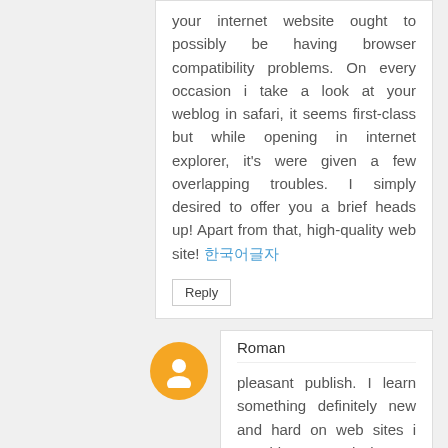your internet website ought to possibly be having browser compatibility problems. On every occasion i take a look at your weblog in safari, it seems first-class but while opening in internet explorer, it's were given a few overlapping troubles. I simply desired to offer you a brief heads up! Apart from that, high-quality web site! 한국어글자
Reply
Roman
pleasant publish. I learn something definitely new and hard on web sites i stumbleupon each day. It's going to always be useful to read through articles from other authors and use a little something from different net sites. This web page become… how do you assert it? Relevant!! Sooner or